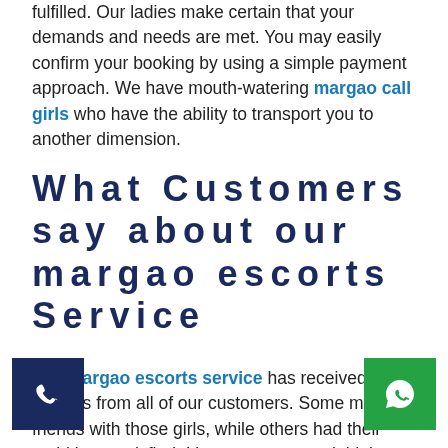fulfilled. Our ladies make certain that your demands and needs are met. You may easily confirm your booking by using a simple payment approach. We have mouth-watering margao call girls who have the ability to transport you to another dimension.
What Customers say about our margao escorts Service
The margao escorts service has received rave reviews from all of our customers. Some made friends with those girls, while others had their ambitions satisfied. It's not easy to get laid, but with us, it'll be a breeze. Along with a discreet manner in which no one would suspect you were using an escort service.